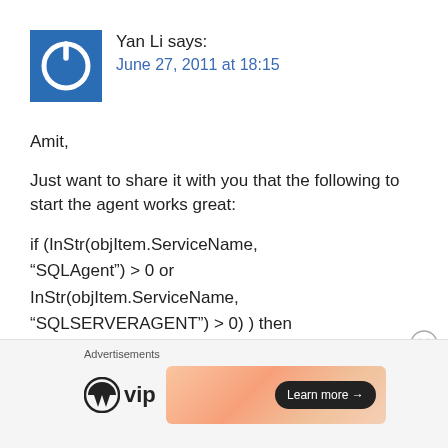[Figure (logo): Blue square avatar with white power button icon]
Yan Li says:
June 27, 2011 at 18:15
Amit,
Just want to share it with you that the following to start the agent works great:
if (InStr(objItem.ServiceName, “SQLAgent”) > 0 or InStr(objItem.ServiceName, “SQLSERVERAGENT”) > 0) ) then objItem.startService()
Advertisements